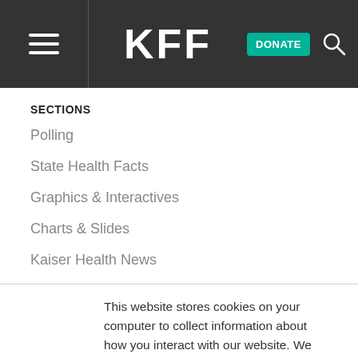KFF — DONATE
SECTIONS
Polling
State Health Facts
Graphics & Interactives
Charts & Slides
Kaiser Health News
This website stores cookies on your computer to collect information about how you interact with our website. We use this information in order to improve and customize your browsing experience and for analytics and metrics about our visitors both on this website and other media. To find out more about the cookies we use, see our Privacy Policy.
Accept